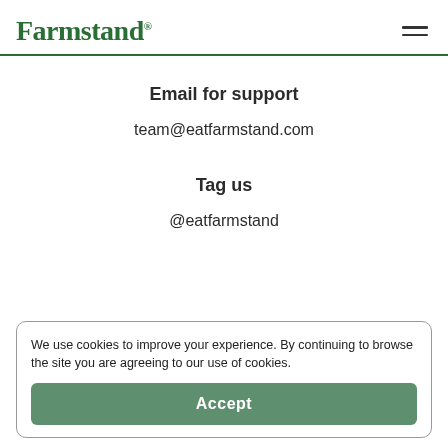Farmstand®
Email for support
team@eatfarmstand.com
Tag us
@eatfarmstand
We use cookies to improve your experience. By continuing to browse the site you are agreeing to our use of cookies.
Accept